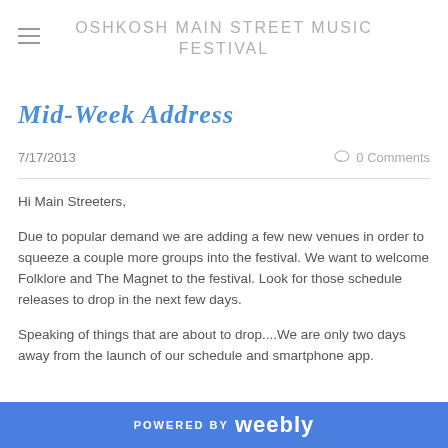OSHKOSH MAIN STREET MUSIC FESTIVAL
Mid-Week Address
7/17/2013
0 Comments
Hi Main Streeters,
Due to popular demand we are adding a few new venues in order to squeeze a couple more groups into the festival. We want to welcome Folklore and The Magnet to the festival. Look for those schedule releases to drop in the next few days.
Speaking of things that are about to drop....We are only two days away from the launch of our schedule and smartphone app.
POWERED BY weebly